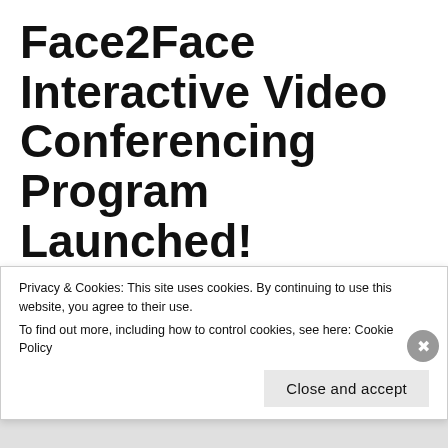Face2Face Interactive Video Conferencing Program Launched!
For the past month and a half my co-workers and I have been working feverishly on a new program called Face2Face that will help state associations deliver N.A.R. designations (Green designation, Seniors Real Estate Specialist® (SRES®), and the Accredited Buyer's Representative (ABR®)
Privacy & Cookies: This site uses cookies. By continuing to use this website, you agree to their use.
To find out more, including how to control cookies, see here: Cookie Policy
Close and accept